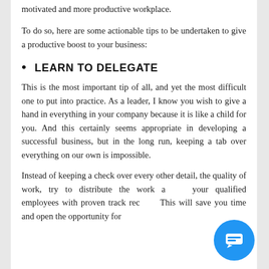motivated and more productive workplace.
To do so, here are some actionable tips to be undertaken to give a productive boost to your business:
LEARN TO DELEGATE
This is the most important tip of all, and yet the most difficult one to put into practice. As a leader, I know you wish to give a hand in everything in your company because it is like a child for you. And this certainly seems appropriate in developing a successful business, but in the long run, keeping a tab over everything on our own is impossible.
Instead of keeping a check over every other detail, the quality of work, try to distribute the work among your qualified employees with proven track records. This will save you time and open the opportunity for